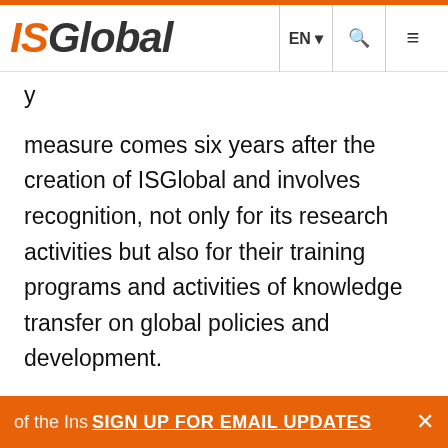ISGlobal | EN | search | menu
measure comes six years after the creation of ISGlobal and involves recognition, not only for its research activities but also for their training programs and activities of knowledge transfer on global policies and development.

“Becoming a university research institute of the University of Barcelona makes ISGlobal an academic reference regarding worldwide health fields”, said the Director of the Training
of the Ins | SIGN UP FOR EMAIL UPDATES | ×